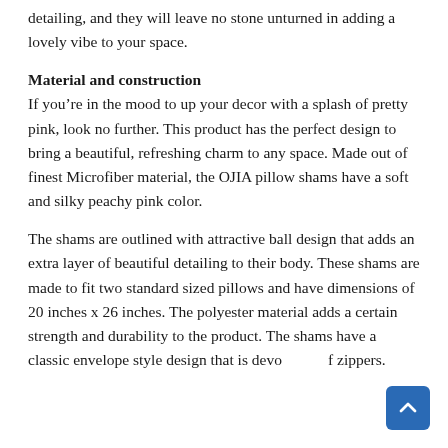detailing, and they will leave no stone unturned in adding a lovely vibe to your space.
Material and construction
If you’re in the mood to up your decor with a splash of pretty pink, look no further. This product has the perfect design to bring a beautiful, refreshing charm to any space. Made out of finest Microfiber material, the OJIA pillow shams have a soft and silky peachy pink color.
The shams are outlined with attractive ball design that adds an extra layer of beautiful detailing to their body. These shams are made to fit two standard sized pillows and have dimensions of 20 inches x 26 inches. The polyester material adds a certain strength and durability to the product. The shams have a classic envelope style design that is devoid of zippers.